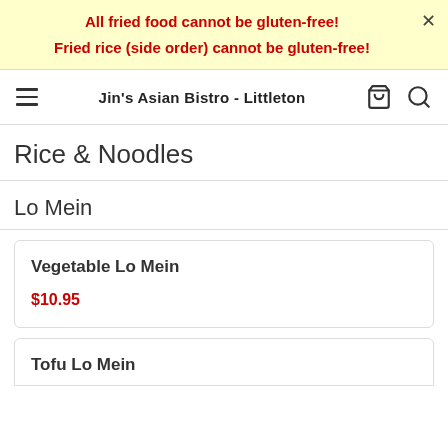All fried food cannot be gluten-free!
Fried rice (side order) cannot be gluten-free!
Jin's Asian Bistro - Littleton
Rice & Noodles
Lo Mein
Vegetable Lo Mein
$10.95
Tofu Lo Mein